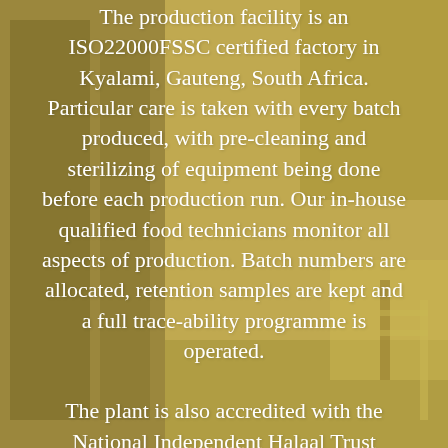[Figure (photo): Background photograph of a food production facility/laboratory with equipment, shelving, and a worker in a white coat, tinted in golden/sepia tone.]
The production facility is an ISO22000FSSC certified factory in Kyalami, Gauteng, South Africa. Particular care is taken with every batch produced, with pre-cleaning and sterilizing of equipment being done before each production run. Our in-house qualified food technicians monitor all aspects of production. Batch numbers are allocated, retention samples are kept and a full trace-ability programme is operated.
The plant is also accredited with the National Independent Halaal Trust (NIHT) as a Halaal facility.